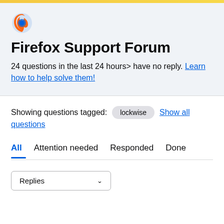Firefox Support Forum
24 questions in the last 24 hours> have no reply. Learn how to help solve them!
Showing questions tagged: lockwise   Show all questions
All   Attention needed   Responded   Done
Replies ∨